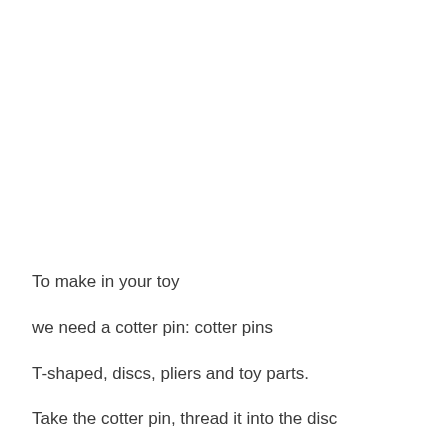To make in your toy
we need a cotter pin: cotter pins
T-shaped, discs, pliers and toy parts.
Take the cotter pin, thread it into the disc